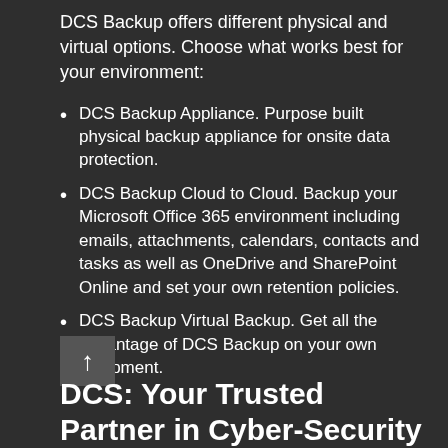DCS Backup offers different physical and virtual options. Choose what works best for your environment:
DCS Backup Appliance. Purpose built physical backup appliance for onsite data protection.
DCS Backup Cloud to Cloud. Backup your Microsoft Office 365 environment including emails, attachments, calendars, contacts and tasks as well as OneDrive and SharePoint Online and set your own retention policies.
DCS Backup Virtual Backup. Get all the advantage of DCS Backup on your own equipment.
DCS: Your Trusted Partner in Cyber-Security